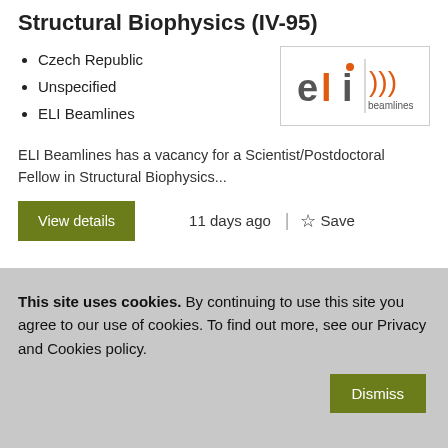Structural Biophysics (IV-95)
Czech Republic
Unspecified
ELI Beamlines
[Figure (logo): ELI Beamlines logo with orange 'eli' text and orange wave icon with 'beamlines' text]
ELI Beamlines has a vacancy for a Scientist/Postdoctoral Fellow in Structural Biophysics...
11 days ago
This site uses cookies. By continuing to use this site you agree to our use of cookies. To find out more, see our Privacy and Cookies policy.